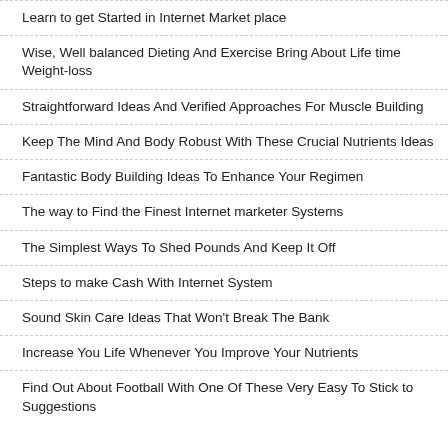Learn to get Started in Internet Market place
Wise, Well balanced Dieting And Exercise Bring About Life time Weight-loss
Straightforward Ideas And Verified Approaches For Muscle Building
Keep The Mind And Body Robust With These Crucial Nutrients Ideas
Fantastic Body Building Ideas To Enhance Your Regimen
The way to Find the Finest Internet marketer Systems
The Simplest Ways To Shed Pounds And Keep It Off
Steps to make Cash With Internet System
Sound Skin Care Ideas That Won't Break The Bank
Increase You Life Whenever You Improve Your Nutrients
Find Out About Football With One Of These Very Easy To Stick to Suggestions